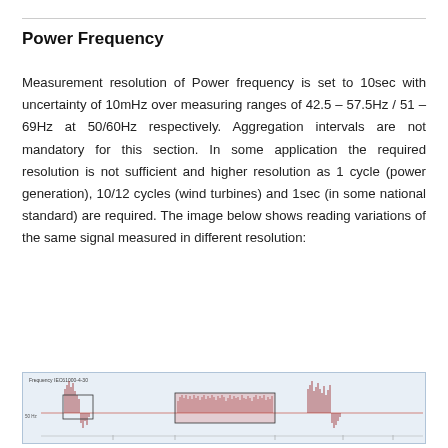Power Frequency
Measurement resolution of Power frequency is set to 10sec with uncertainty of 10mHz over measuring ranges of 42.5 – 57.5Hz / 51 – 69Hz at 50/60Hz respectively. Aggregation intervals are not mandatory for this section. In some application the required resolution is not sufficient and higher resolution as 1 cycle (power generation), 10/12 cycles (wind turbines) and 1sec (in some national standard) are required. The image below shows reading variations of the same signal measured in different resolution:
[Figure (continuous-plot): A waveform plot titled 'Frequency IEC61000-4-30' showing power frequency signal variations measured at different resolutions. The plot shows a horizontal line near 50Hz with several bursts of high-frequency variation clusters along the timeline, with some sections highlighted in a pink/red shaded rectangle indicating a zoomed or selected region.]